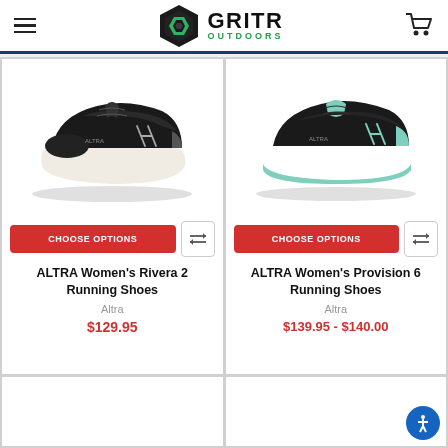GritR Outdoors
[Figure (photo): Black Altra Women's Rivera 2 Running Shoe on white background]
CHOOSE OPTIONS
ALTRA Women's Rivera 2 Running Shoes
Altra
$129.95
[Figure (photo): Black and teal Altra Women's Provision 6 Running Shoe on white background]
CHOOSE OPTIONS
ALTRA Women's Provision 6 Running Shoes
Altra
$139.95 - $140.00